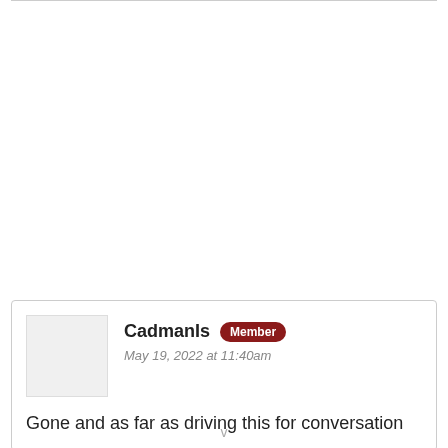CadmanIs Member
May 19, 2022 at 11:40am

Gone and as far as driving this for conversation
v